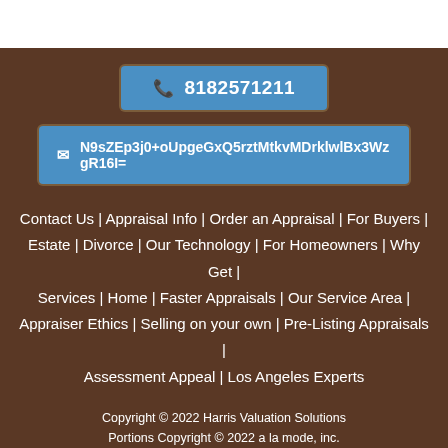[Figure (other): Phone button with icon showing 8182571211]
[Figure (other): Email button with icon showing encoded email N9sZEp3j0+oUpgeGxQ5rztMtkvMDrklwlBx3WzgR16I=]
Contact Us | Appraisal Info | Order an Appraisal | For Buyers | Estate | Divorce | Our Technology | For Homeowners | Why Get | Services | Home | Faster Appraisals | Our Service Area | Appraiser Ethics | Selling on your own | Pre-Listing Appraisals | Assessment Appeal | Los Angeles Experts
Copyright © 2022 Harris Valuation Solutions
Portions Copyright © 2022 a la mode, inc.
Another website by a la mode, inc. | Terms of Use | Site Map